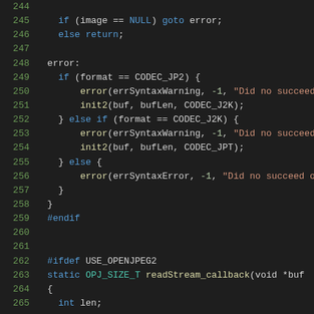[Figure (screenshot): Source code viewer showing C/C++ code lines 244-265 with syntax highlighting on a dark background. Line numbers in green on left, code with blue keywords, teal types, yellow function names, and red/orange strings.]